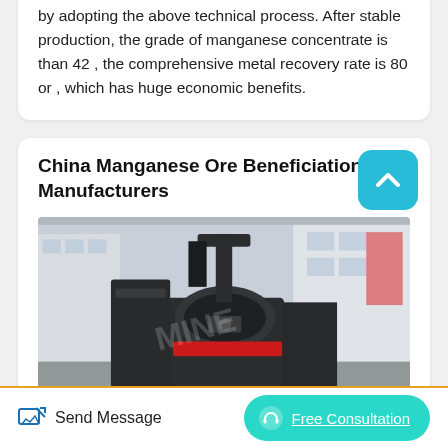by adopting the above technical process. After stable production, the grade of manganese concentrate is than 42 , the comprehensive metal recovery rate is 80 or , which has huge economic benefits.
China Manganese Ore Beneficiation Manufacturers
[Figure (photo): Large industrial ore beneficiation/crushing machine (dark grey/black with red accent band) photographed outdoors in front of a building. Watermark text visible.]
Send Message
Free Consultation